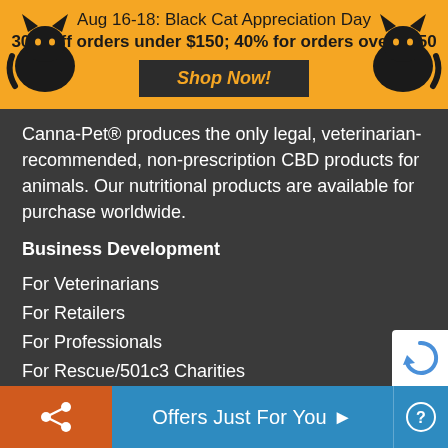Aug 16-18: Black Cat Appreciation Day
30% off orders under $150; 40% for orders over $150
Shop Now!
Canna-Pet® produces the only legal, veterinarian-recommended, non-prescription CBD products for animals. Our nutritional products are available for purchase worldwide.
Business Development
For Veterinarians
For Retailers
For Professionals
For Rescue/501c3 Charities
Affiliate Program
Brand Guidelines
Offers Just For You ▶